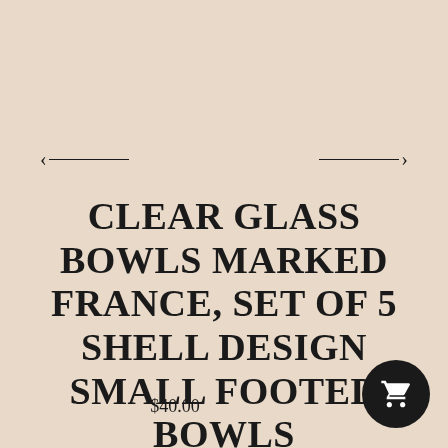[Figure (other): Navigation arrows: left arrow (← with line) on left side, right arrow (line with →) on right side]
CLEAR GLASS BOWLS MARKED FRANCE, SET OF 5 SHELL DESIGN SMALL FOOTED BOWLS
$40.00
[Figure (other): Dark circular shopping cart button icon in bottom right corner]